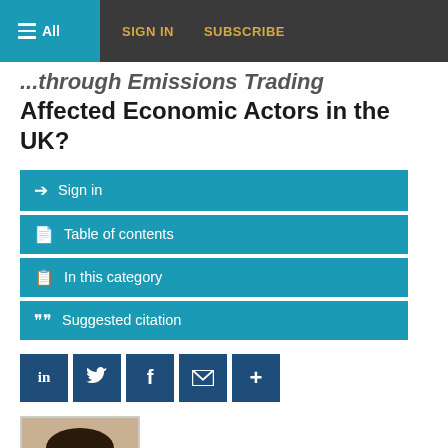All  SIGN IN  SUBSCRIBE
...through Emissions Trading Affected Economic Actors in the UK?
Sign in
Table of contents
In this category
Suggested citation
[Figure (other): Social sharing icons: LinkedIn, Twitter, Facebook, Email, More (+)]
[Figure (photo): Author photo of Nwakoby, Adaeze — a person with glasses]
Nwakoby, Adaeze